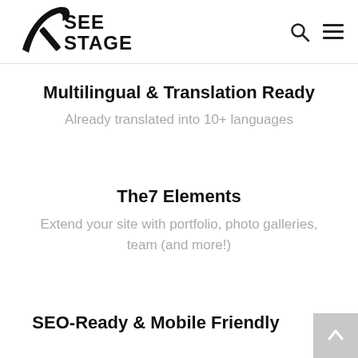[Figure (logo): SeeStage logo — stylized arrow/swash mark with bold text SEE STAGE]
Multilingual & Translation Ready
Already translated into 10+ languages
The7 Elements
Extend your site with portfolio, photo galleries, team (and more!)
SEO-Ready & Mobile Friendly